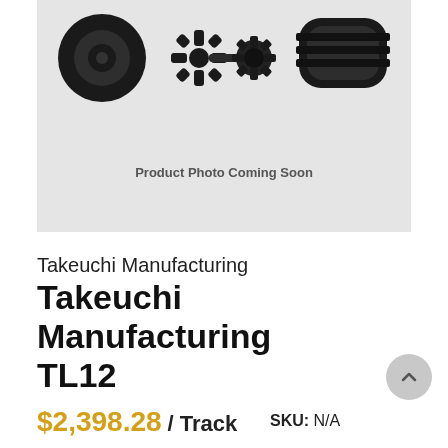[Figure (photo): Product placeholder image showing a tire, gear/sprocket assembly, and rubber track component on a light gray background with text 'Product Photo Coming Soon']
Takeuchi Manufacturing
Takeuchi Manufacturing TL12
$2,398.28 / Track   SKU: N/A